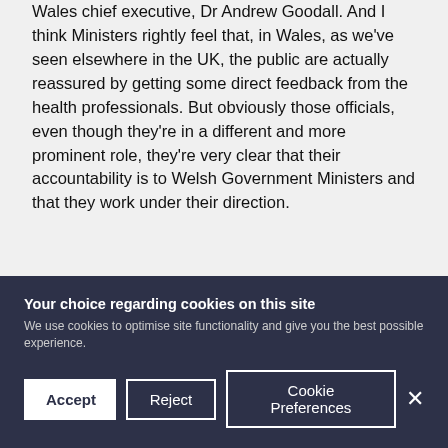Wales chief executive, Dr Andrew Goodall. And I think Ministers rightly feel that, in Wales, as we've seen elsewhere in the UK, the public are actually reassured by getting some direct feedback from the health professionals. But obviously those officials, even though they're in a different and more prominent role, they're very clear that their accountability is to Welsh Government Ministers and that they work under their direction.
79   Nonetheless, obviously, in this situation, things are very fast moving. Decisions have to be taken much more rapidly than usual, and it was to make sure that I had assurance that the civil service was
Your choice regarding cookies on this site
We use cookies to optimise site functionality and give you the best possible experience.